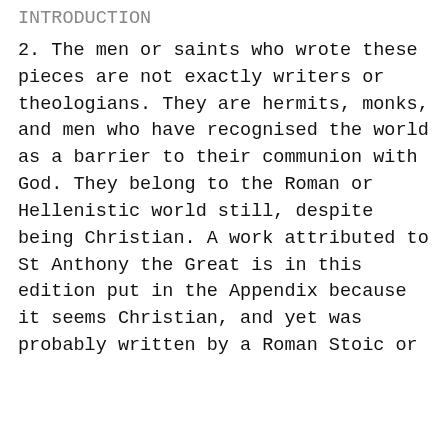INTRODUCTION
2. The men or saints who wrote these pieces are not exactly writers or theologians. They are hermits, monks, and men who have recognised the world as a barrier to their communion with God. They belong to the Roman or Hellenistic world still, despite being Christian. A work attributed to St Anthony the Great is in this edition put in the Appendix because it seems Christian, and yet was probably written by a Roman Stoic or